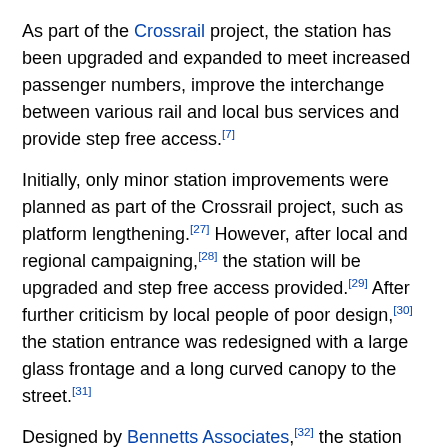As part of the Crossrail project, the station has been upgraded and expanded to meet increased passenger numbers, improve the interchange between various rail and local bus services and provide step free access.[7]
Initially, only minor station improvements were planned as part of the Crossrail project, such as platform lengthening.[27] However, after local and regional campaigning,[28] the station will be upgraded and step free access provided.[29] After further criticism by local people of poor design,[30] the station entrance was redesigned with a large glass frontage and a long curved canopy to the street.[31]
Designed by Bennetts Associates,[32] the station upgrade has involved demolishing the old cramped ticket hall and staircases, replacing them with:[7]
A new double height ticket hall, twice as large as the previous ticket hall.
Improved and enlarged public realm outside the station